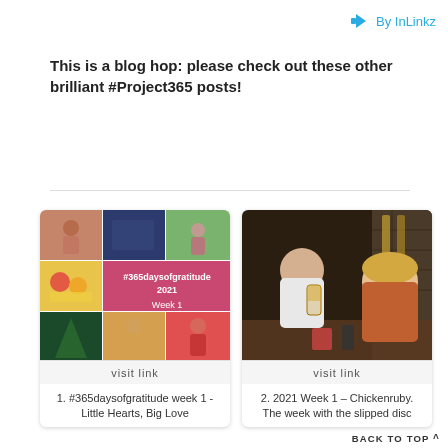[Figure (logo): InLinkz logo with arrow icon and 'By InLinkz' text in teal]
This is a blog hop: please check out these other brilliant #Project365 posts!
[Figure (photo): Photo collage showing #365daysofgratitude 2021 Week 1 with children, fruits, Christmas tree, and playground photos]
visit link
1. #365daysofgratitude week 1 - Little Hearts, Big Love
[Figure (photo): Photo of two people sitting at a table in a bar/restaurant, raising glasses]
visit link
2. 2021 Week 1 – Chickenruby. The week with the slipped disc
BACK TO TOP ^